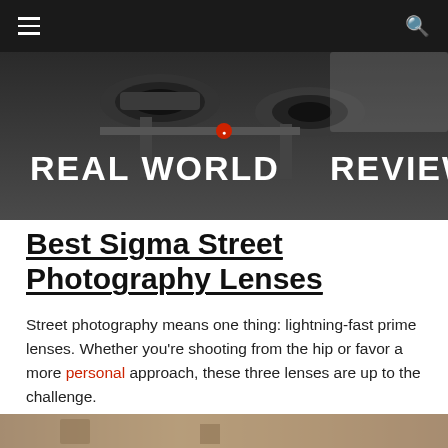[Figure (photo): Hero image showing camera lenses/equipment mounted on a tripod or rig, close-up dark tones, with overlaid white bold text 'REAL WORLD REVIEW']
Best Sigma Street Photography Lenses
Street photography means one thing: lightning-fast prime lenses. Whether you're shooting from the hip or favor a more personal approach, these three lenses are up to the challenge.
28mm f/1.4 DG HSM
[Figure (photo): Partial bottom photo strip showing a street photography scene, cropped at page bottom]